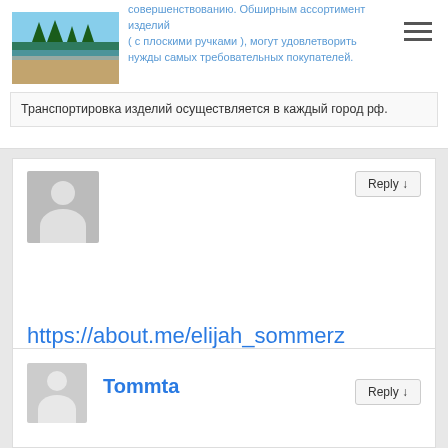[Figure (photo): Landscape photo showing lake/water with pine trees and sandy shore under blue sky]
совершенствованию. Обширным ассортимент изделий ( с плоскими ручками ), могут удовлетворить нужды самых требовательных покупателей.
Транспортировка изделий осуществляется в каждый город рф.
https://about.me/elijah_sommerz
December 18, 2020 at 5:13 am
Thank you, I have recently been searching for information about this subject for a while and yours is the best I have discovered so far. But, what in regards to the bottom line?
Are you certain in regards to the source?
Tommta